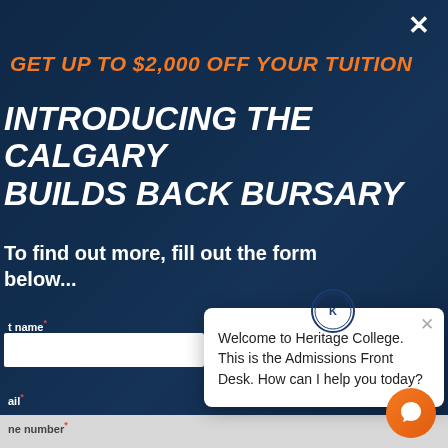GET UP TO $2,000 OFF YOUR TUITION
INTRODUCING THE CALGARY BUILDS BACK BURSARY
To find out more, fill out the form below...
[Figure (screenshot): Chat widget from Heritage College Admissions Front Desk saying: Welcome to Heritage College. This is the Admissions Front Desk. How can I help you today?]
Welcome to Heritage College. This is the Admissions Front Desk. How can I help you today?